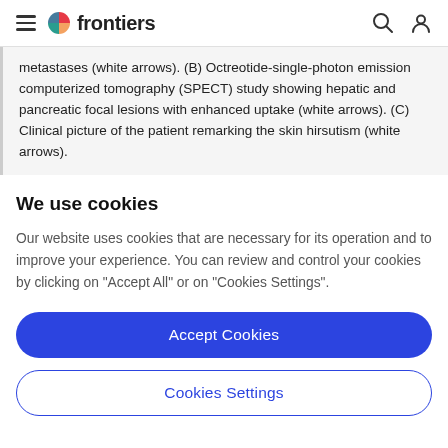frontiers (navigation bar with hamburger menu, logo, search and user icons)
metastases (white arrows). (B) Octreotide-single-photon emission computerized tomography (SPECT) study showing hepatic and pancreatic focal lesions with enhanced uptake (white arrows). (C) Clinical picture of the patient remarking the skin hirsutism (white arrows).
We use cookies
Our website uses cookies that are necessary for its operation and to improve your experience. You can review and control your cookies by clicking on "Accept All" or on "Cookies Settings".
Accept Cookies
Cookies Settings